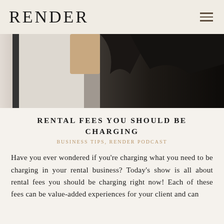RENDER
[Figure (photo): Cropped photo of a person wearing a black outfit against a light background, showing torso and crossed arms area]
RENTAL FEES YOU SHOULD BE CHARGING
BUSINESS TIPS, RENDER PODCAST
Have you ever wondered if you're charging what you need to be charging in your rental business? Today's show is all about rental fees you should be charging right now! Each of these fees can be value-added experiences for your client and can